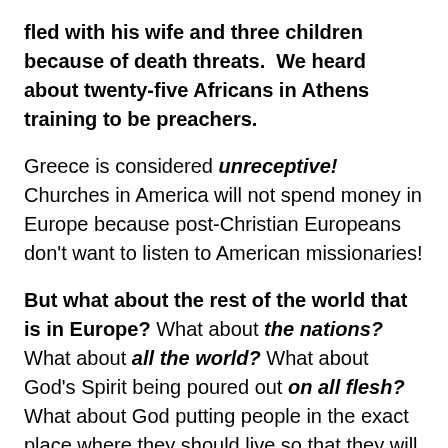fled with his wife and three children because of death threats.  We heard about twenty-five Africans in Athens training to be preachers.
Greece is considered unreceptive! Churches in America will not spend money in Europe because post-Christian Europeans don't want to listen to American missionaries!
But what about the rest of the world that is in Europe? What about the nations?  What about all the world? What about God's Spirit being poured out on all flesh? What about God putting people in the exact place where they should live so that they will seek Him and find Him? What about the peoples that God has put in Europe?
Maybe that's too many rhetorical questions, but just come to Athens and see.  Visit the islands, enjoy the ruins